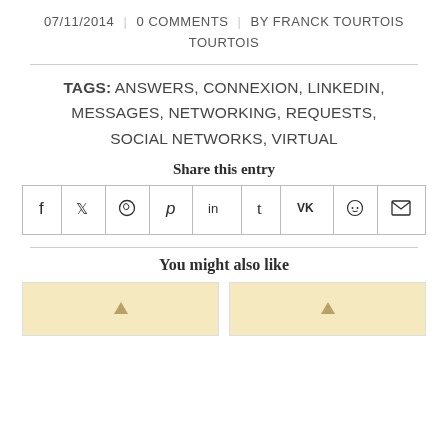07/11/2014 | 0 COMMENTS | BY FRANCK TOURTOIS
TAGS: ANSWERS, CONNEXION, LINKEDIN, MESSAGES, NETWORKING, REQUESTS, SOCIAL NETWORKS, VIRTUAL
Share this entry
[Figure (other): Social share buttons row: Facebook, Twitter, WhatsApp, Pinterest, LinkedIn, Tumblr, VK, Reddit, Email]
You might also like
[Figure (other): Two card thumbnails with golden/yellow background and arrow icons]